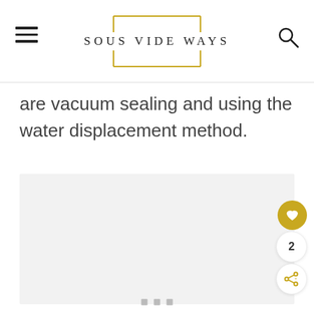SOUS VIDE WAYS
are vacuum sealing and using the water displacement method.
[Figure (photo): Image loading placeholder area with gray background and three small gray square loading indicator dots]